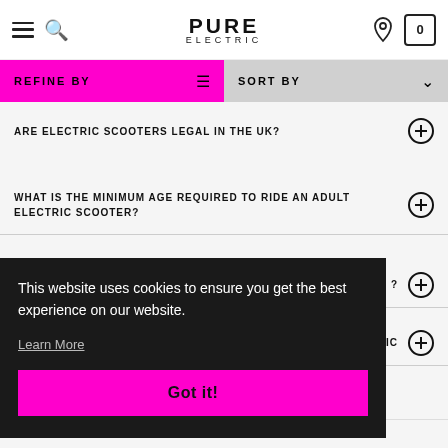PURE ELECTRIC
REFINE BY
SORT BY
ARE ELECTRIC SCOOTERS LEGAL IN THE UK?
WHAT IS THE MINIMUM AGE REQUIRED TO RIDE AN ADULT ELECTRIC SCOOTER?
This website uses cookies to ensure you get the best experience on our website.
Learn More
Got it!